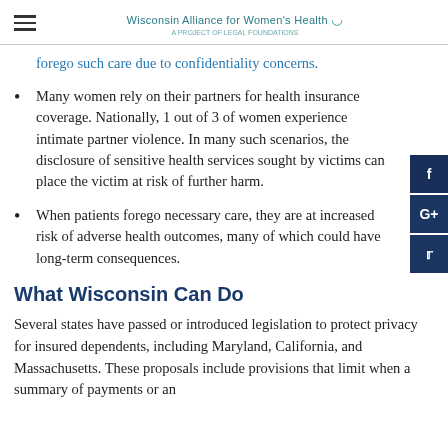Wisconsin Alliance for Women's Health
forego such care due to confidentiality concerns.
Many women rely on their partners for health insurance coverage. Nationally, 1 out of 3 of women experience intimate partner violence. In many such scenarios, the disclosure of sensitive health services sought by victims can place the victim at risk of further harm.
When patients forego necessary care, they are at increased risk of adverse health outcomes, many of which could have long-term consequences.
What Wisconsin Can Do
Several states have passed or introduced legislation to protect privacy for insured dependents, including Maryland, California, and Massachusetts. These proposals include provisions that limit when a summary of payments or an